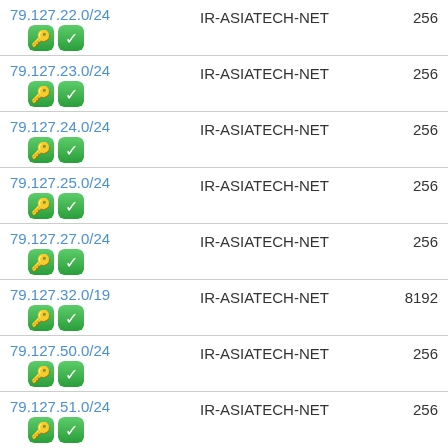| IP Range | Network | Count |
| --- | --- | --- |
| 79.127.22.0/24 | IR-ASIATECH-NET | 256 |
| 79.127.23.0/24 | IR-ASIATECH-NET | 256 |
| 79.127.24.0/24 | IR-ASIATECH-NET | 256 |
| 79.127.25.0/24 | IR-ASIATECH-NET | 256 |
| 79.127.27.0/24 | IR-ASIATECH-NET | 256 |
| 79.127.32.0/19 | IR-ASIATECH-NET | 8192 |
| 79.127.50.0/24 | IR-ASIATECH-NET | 256 |
| 79.127.51.0/24 | IR-ASIATECH-NET | 256 |